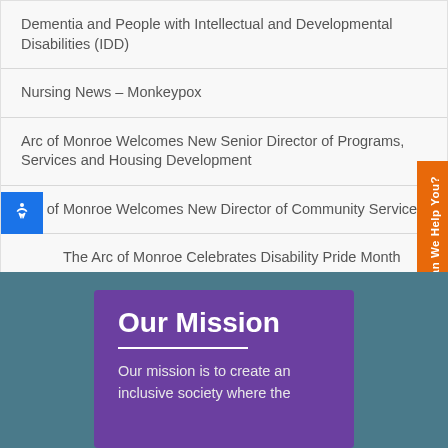Dementia and People with Intellectual and Developmental Disabilities (IDD)
Nursing News – Monkeypox
Arc of Monroe Welcomes New Senior Director of Programs, Services and Housing Development
Arc of Monroe Welcomes New Director of Community Services
The Arc of Monroe Celebrates Disability Pride Month
Our Mission
Our mission is to create an inclusive society where the